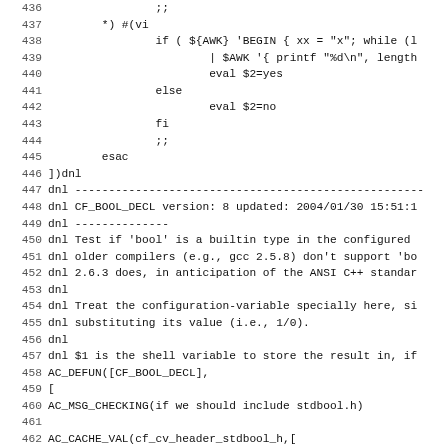Source code listing lines 436-467, autoconf macro file (m4)